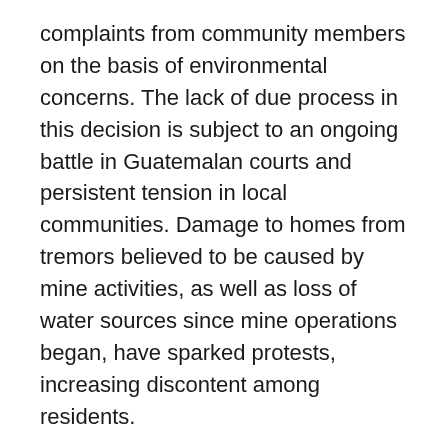complaints from community members on the basis of environmental concerns. The lack of due process in this decision is subject to an ongoing battle in Guatemalan courts and persistent tension in local communities. Damage to homes from tremors believed to be caused by mine activities, as well as loss of water sources since mine operations began, have sparked protests, increasing discontent among residents.
“Billion-dollar pension funds in Europe have already divested from the company given the tremendous human rights harms and ongoing financial risks posed by the persistent local opposition to this project. It is time that other shareholders divest from Tahoe and respect the tens of thousands of community members who have – in the face of great danger – voiced their dissent to this to this project given their fears for their water, farms and peace in